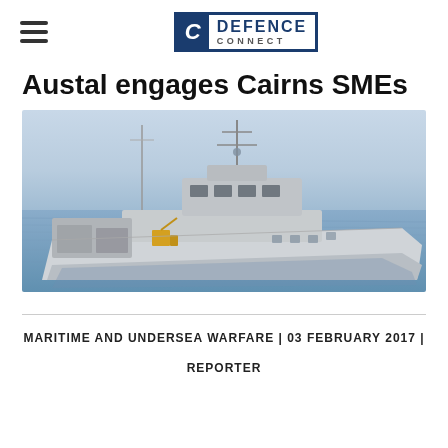Defence Connect
Austal engages Cairns SMEs
[Figure (photo): 3D rendering of a naval patrol/survey vessel on calm water, showing the ship's deck equipment, bridge structure, and hull from a starboard forward angle]
MARITIME AND UNDERSEA WARFARE | 03 FEBRUARY 2017 | REPORTER